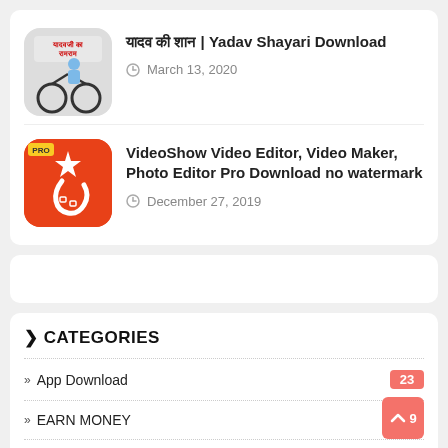यादव की शान | Yadav Shayari Download — March 13, 2020
VideoShow Video Editor, Video Maker, Photo Editor Pro Download no watermark — December 27, 2019
> CATEGORIES
>> App Download  23
>> EARN MONEY  9
>> Ezoic  4